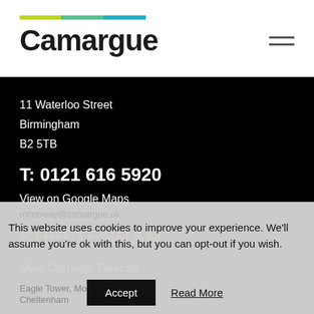[Figure (logo): Camargue logo with tri-color bar (green, teal, blue) above bold black wordmark 'Camargue']
11 Waterloo Street
Birmingham
B2 5TB
T: 0121 616 5920
View on Google Maps
CHELTENHAM
Mike Conway: Director
This website uses cookies to improve your experience. We'll assume you're ok with this, but you can opt-out if you wish.
mconway@camargue.uk
Eagle Tower, Montpellier Drive
Cheltenham